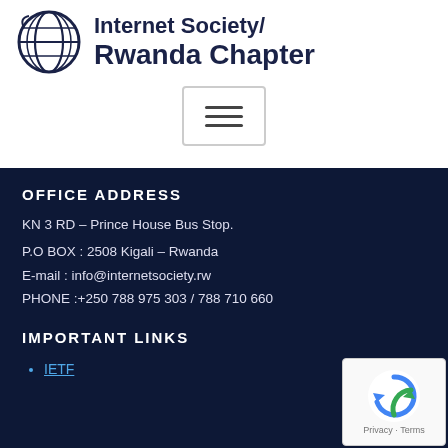[Figure (logo): Internet Society Rwanda Chapter logo with globe icon and organization name]
[Figure (other): Hamburger menu button (three horizontal bars) with rounded border]
OFFICE ADDRESS
KN 3 RD – Prince House Bus Stop.
P.O BOX : 2508 Kigali – Rwanda
E-mail : info@internetsociety.rw
PHONE :+250 788 975 303 / 788 710 660
IMPORTANT LINKS
IETF
[Figure (other): Google reCAPTCHA badge showing reCAPTCHA logo with Privacy and Terms text]